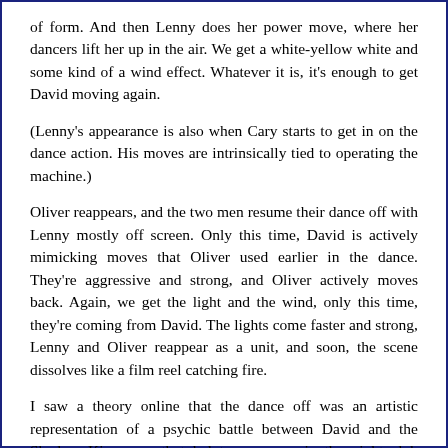of form. And then Lenny does her power move, where her dancers lift her up in the air. We get a white-yellow white and some kind of a wind effect. Whatever it is, it's enough to get David moving again.
(Lenny's appearance is also when Cary starts to get in on the dance action. His moves are intrinsically tied to operating the machine.)
Oliver reappears, and the two men resume their dance off with Lenny mostly off screen. Only this time, David is actively mimicking moves that Oliver used earlier in the dance. They're aggressive and strong, and Oliver actively moves back. Again, we get the light and the wind, only this time, they're coming from David. The lights come faster and strong, Lenny and Oliver reappear as a unit, and soon, the scene dissolves like a film reel catching fire.
I saw a theory online that the dance off was an artistic representation of a psychic battle between David and the Shadow King, one that led to everyone in the night club becoming infected. The more I watch the scene, the more that I believe that theory. The dance truly was a battle in every sense of the word, with the bright, white light representing truly powerful attacks far beyond what anyone else can do. But